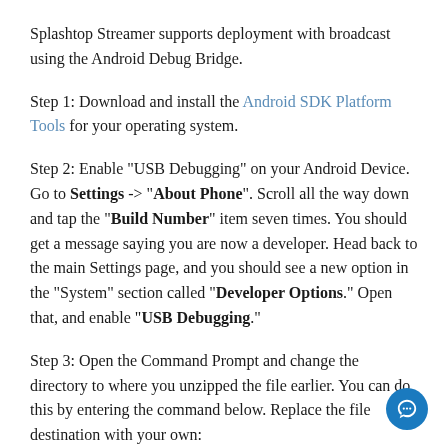Splashtop Streamer supports deployment with broadcast using the Android Debug Bridge.
Step 1: Download and install the Android SDK Platform Tools for your operating system.
Step 2: Enable "USB Debugging" on your Android Device. Go to Settings -> "About Phone". Scroll all the way down and tap the "Build Number" item seven times. You should get a message saying you are now a developer. Head back to the main Settings page, and you should see a new option in the "System" section called "Developer Options." Open that, and enable "USB Debugging."
Step 3: Open the Command Prompt and change the directory to where you unzipped the file earlier. You can do this by entering the command below. Replace the file destination with your own: